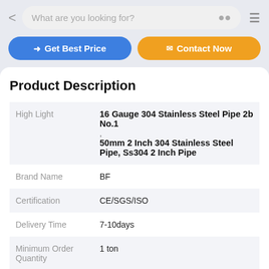What are you looking for?
Get Best Price   Contact Now
Product Description
|  |  |
| --- | --- |
| High Light | 16 Gauge 304 Stainless Steel Pipe 2b No.1
,
50mm 2 Inch 304 Stainless Steel Pipe, Ss304 2 Inch Pipe |
| Brand Name | BF |
| Certification | CE/SGS/ISO |
| Delivery Time | 7-10days |
| Minimum Order Quantity | 1 ton |